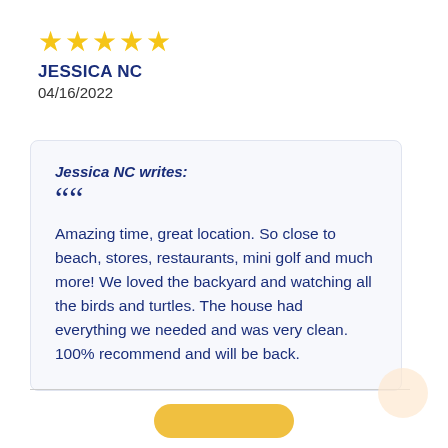[Figure (other): Five yellow star rating icons]
JESSICA NC
04/16/2022
Jessica NC writes:
““

Amazing time, great location. So close to beach, stores, restaurants, mini golf and much more! We loved the backyard and watching all the birds and turtles. The house had everything we needed and was very clean. 100% recommend and will be back.